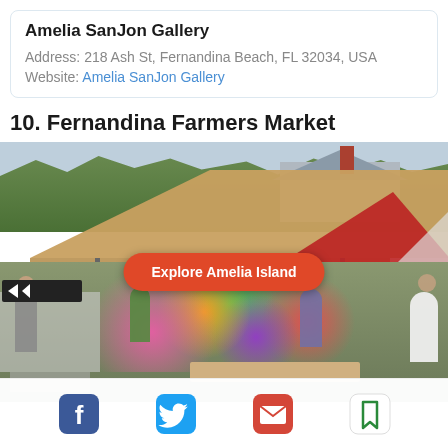Amelia SanJon Gallery
Address: 218 Ash St, Fernandina Beach, FL 32034, USA
Website: Amelia SanJon Gallery
10. Fernandina Farmers Market
[Figure (photo): Outdoor farmers market with a large beige/tan canopy tent and a red tent to the right. Vendors display flowers and plants. A crowd of shoppers browses the stalls. An 'Explore Amelia Island' button overlaid on the center of the image.]
[Figure (infographic): Social sharing bar with Facebook (blue), Twitter (blue), Email (red), and Bookmark (green) icons]